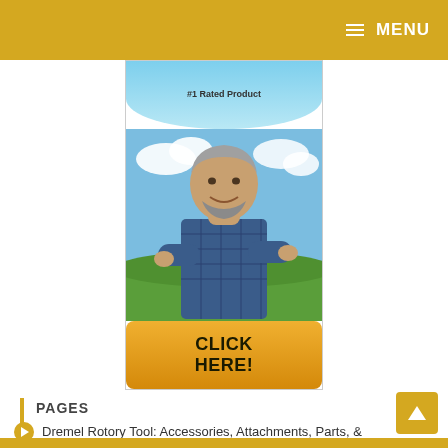MENU
[Figure (photo): Advertisement banner showing a man with crossed arms smiling outdoors with sky and grass background, with '#1 Rated Product' text at top and 'CLICK HERE!' button at bottom]
PAGES
Dremel Rotory Tool: Accessories, Attachments, Parts, &